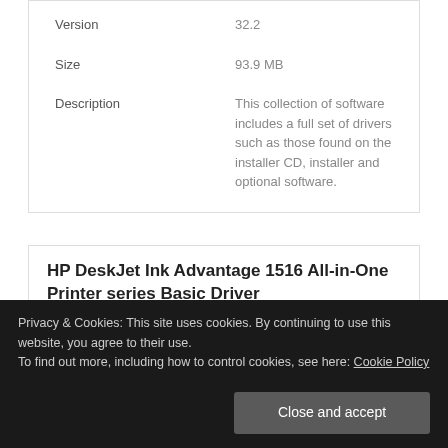| Field | Value |
| --- | --- |
| Version | 32.2 |
| Size | 93.9 MB |
| Description | This collection of software includes a full set of drivers such as those found on the installer CD, installer and optional software. |
HP DeskJet Ink Advantage 1516 All-in-One Printer series Basic Driver
Privacy & Cookies: This site uses cookies. By continuing to use this website, you agree to their use.
To find out more, including how to control cookies, see here: Cookie Policy
Close and accept